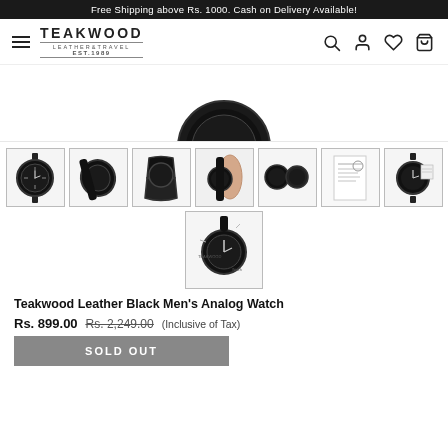Free Shipping above Rs. 1000. Cash on Delivery Available!
[Figure (logo): Teakwood Leather & Travel Est. 1989 logo with hamburger menu and nav icons (search, user, heart, bag)]
[Figure (photo): Partial product image of Teakwood black men's analog watch from above]
[Figure (photo): Gallery of 7 product thumbnail images of the Teakwood Leather Black Men's Analog Watch plus one centered thumbnail below]
Teakwood Leather Black Men’s Analog Watch
Rs. 899.00  Rs. 2,249.00  (Inclusive of Tax)
SOLD OUT